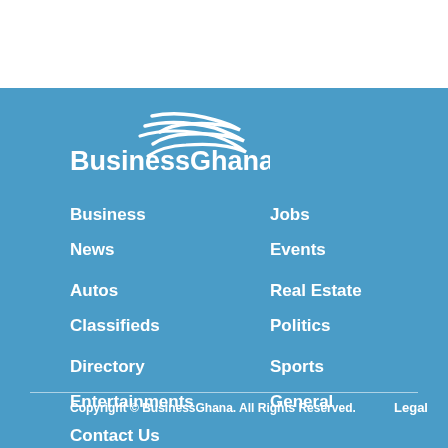[Figure (logo): BusinessGhana logo — white swoosh above white bold text 'BusinessGhana' on blue background]
Business
News
Jobs
Events
Autos
Classifieds
Real Estate
Politics
Directory
Entertainments
Contact Us
Sports
General
Copyright © BusinessGhana. All Rights Reserved.    Legal